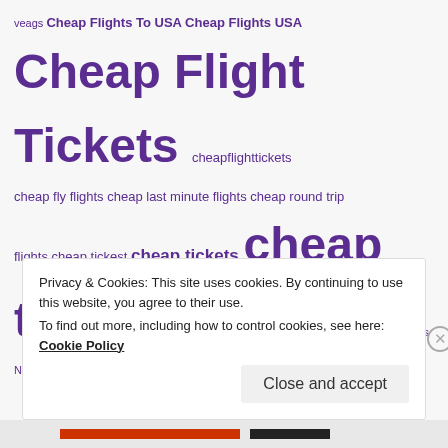veags Cheap Flights To USA Cheap Flights USA Cheap Flight Tickets cheapflighttickets cheap fly flights cheap last minute flights cheap round trip flights cheap tickest cheap tickets cheap tickets flights cheap travel vegas NV LAS cheap vegas flights compare flights Find Cheap Flights find cheap flights.com find cheap google flights findflights find plane tickets find the cheapest flights flight Flight Deals Flights flights cheap
Privacy & Cookies: This site uses cookies. By continuing to use this website, you agree to their use. To find out more, including how to control cookies, see here: Cookie Policy
Close and accept